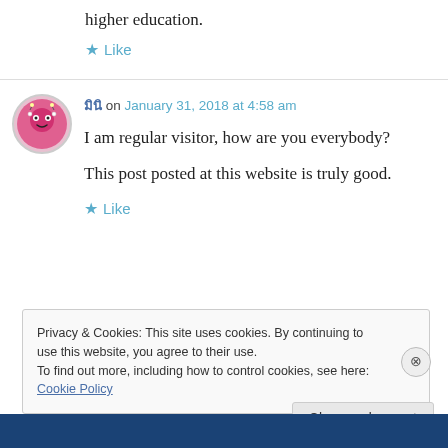higher education.
★ Like
𝑚𝑖𝑛𝑖 on January 31, 2018 at 4:58 am
I am regular visitor, how are you everybody?

This post posted at this website is truly good.
★ Like
Privacy & Cookies: This site uses cookies. By continuing to use this website, you agree to their use.
To find out more, including how to control cookies, see here: Cookie Policy
Close and accept